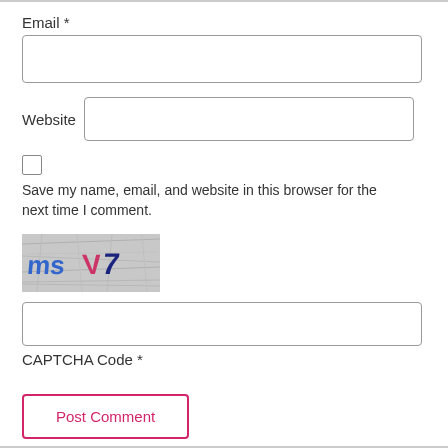Email *
Website
Save my name, email, and website in this browser for the next time I comment.
[Figure (other): CAPTCHA image showing distorted text 'msV7' on a textured background]
CAPTCHA Code *
Post Comment